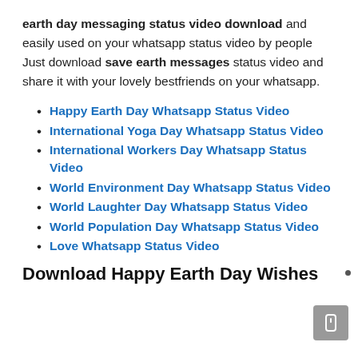earth day messaging status video download and easily used on your whatsapp status video by people Just download save earth messages status video and share it with your lovely bestfriends on your whatsapp.
Happy Earth Day Whatsapp Status Video
International Yoga Day Whatsapp Status Video
International Workers Day Whatsapp Status Video
World Environment Day Whatsapp Status Video
World Laughter Day Whatsapp Status Video
World Population Day Whatsapp Status Video
Love Whatsapp Status Video
Download Happy Earth Day Wishes